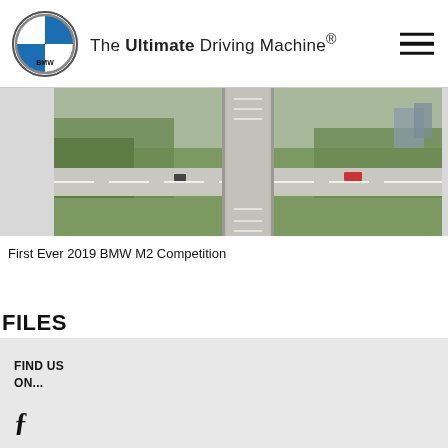The Ultimate Driving Machine®
[Figure (photo): Aerial view of highway interchange with green trees and roads crossing]
First Ever 2019 BMW M2 Competition
FILES
2019 BMW M2 Competition Retail Pricing Guide.pdf
The New 2019 BMW M2 Competiton.pdf
FIND US ON...